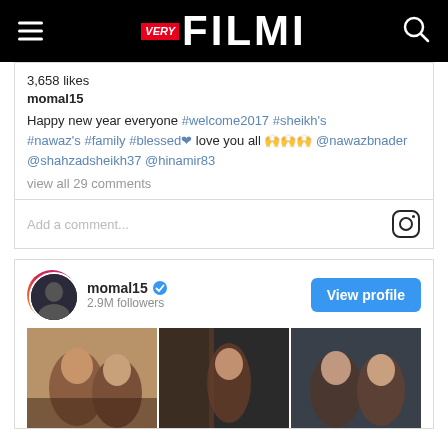VERY FILMI
3,658 likes
momal15
Happy new year everyone #welcome2017 #sheikh's #nawaz's #family #blessed❤ love you all 🙌🙌🙌 @nawazbnader @shahzadsheikh37 @hinamir83
view all 29 comments
Add a comment...
momal15  2.9M followers
View profile
[Figure (photo): Collage of four selfie/group photos of women at what appears to be a social gathering or party.]